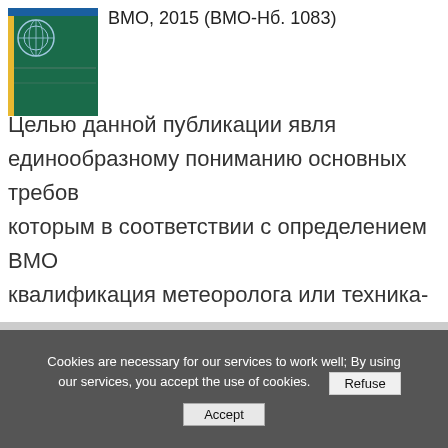[Figure (illustration): WMO publication book cover with green background and WMO logo]
ВМО, 2015 (ВМО-Нб. 1083)
Целью данной публикации явля... единообразному пониманию основных требов... которым в соответствии с определением ВМО... квалификация метеоролога или техника-мете... помощь национальным метеорологическим и... (НМГС) в создании их соответствующих систе... персонала и разработке учебных программ, ко... соответствовали международным стандартам
Cookies are necessary for our services to work well; By using our services, you accept the use of cookies.